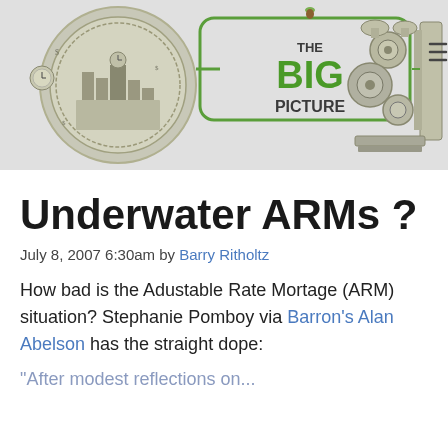[Figure (logo): The Big Picture blog header logo featuring a circular coin-like illustration with keys/machinery imagery on the right and green 'THE BIG PICTURE' text in the center, with a hamburger menu icon on the far right]
Underwater ARMs?
July 8, 2007 6:30am by Barry Ritholtz
How bad is the Adustable Rate Mortage (ARM) situation? Stephanie Pomboy via Barron's Alan Abelson has the straight dope:
"After modest reflections on...